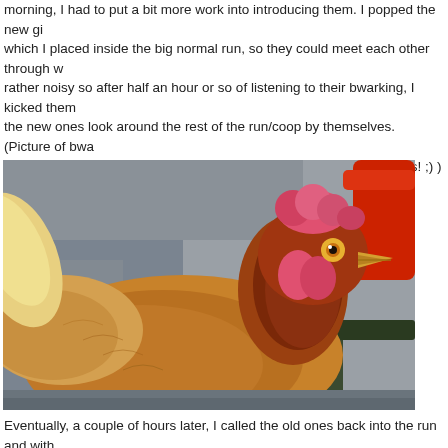morning, I had to put a bit more work into introducing them. I popped the new gi which I placed inside the big normal run, so they could meet each other through w rather noisy so after half an hour or so of listening to their bwarking, I kicked them the new ones look around the rest of the run/coop by themselves. (Picture of bwa the chicken equivalent of Daily Mail-style "bloomin' immigrants!" rants! ;) )
[Figure (photo): Close-up photograph of a brown hen/chicken with a pink comb and wattles, looking directly at the camera. The background shows gravel/stones and some green equipment (possibly a garden tool or feeder in red/orange).]
Eventually, a couple of hours later, I called the old ones back into the run and with